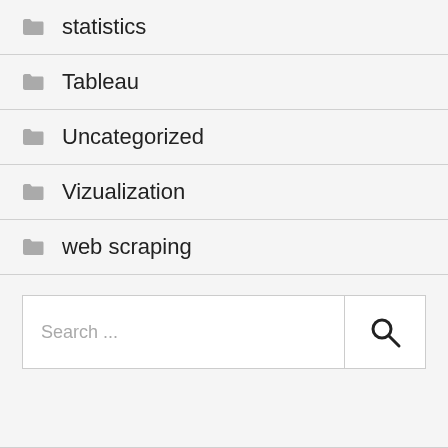statistics
Tableau
Uncategorized
Vizualization
web scraping
Search ...